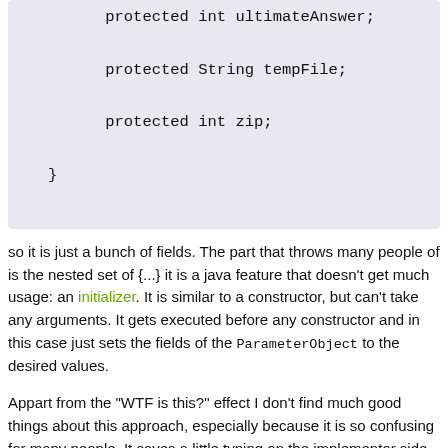[Figure (screenshot): Code block showing Java class fields: protected int ultimateAnswer; protected String tempFile; protected int zip; closing brace]
so it is just a bunch of fields. The part that throws many people of is the nested set of {...} it is a java feature that doesn't get much usage: an initializer. It is similar to a constructor, but can't take any arguments. It gets executed before any constructor and in this case just sets the fields of the ParameterObject to the desired values.
Appart from the "WTF is this?" effect I don't find much good things about this approach, especially because it is so confusing for many people. It saves a little typing on the implementor side of the interface I guess, but then you have this new WhatEverStuff() on the client side, which doesn't help readability much.